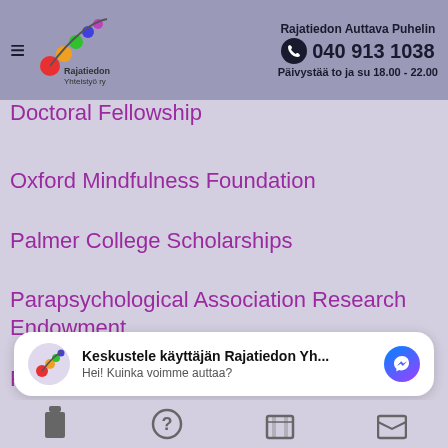Rajatiedon Auttava Puhelin 040 913 1038 Päivystää to ja su 18.00 - 22.00
Doctoral Fellowship
Oxford Mindfulness Foundation
Palmer College Scholarships
Parapsychological Association Research Endowment
Parapsykologian Säätiö
Pehr August ja Saga Steniuksen rahasto
Keskustele käyttäjän Rajatiedon Yh... Hei! Kuinka voimme auttaa?